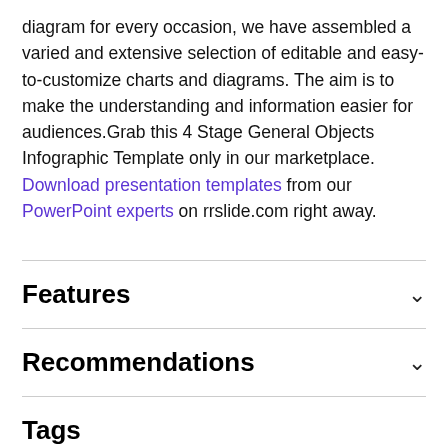diagram for every occasion, we have assembled a varied and extensive selection of editable and easy-to-customize charts and diagrams. The aim is to make the understanding and information easier for audiences.Grab this 4 Stage General Objects Infographic Template only in our marketplace. Download presentation templates from our PowerPoint experts on rrslide.com right away.
Features
Recommendations
Tags